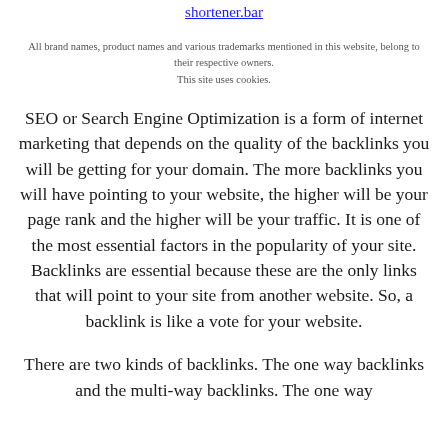shortener.bar
All brand names, product names and various trademarks mentioned in this website, belong to their respective owners.
This site uses cookies.
SEO or Search Engine Optimization is a form of internet marketing that depends on the quality of the backlinks you will be getting for your domain. The more backlinks you will have pointing to your website, the higher will be your page rank and the higher will be your traffic. It is one of the most essential factors in the popularity of your site. Backlinks are essential because these are the only links that will point to your site from another website. So, a backlink is like a vote for your website.
There are two kinds of backlinks. The one way backlinks and the multi-way backlinks. The one way